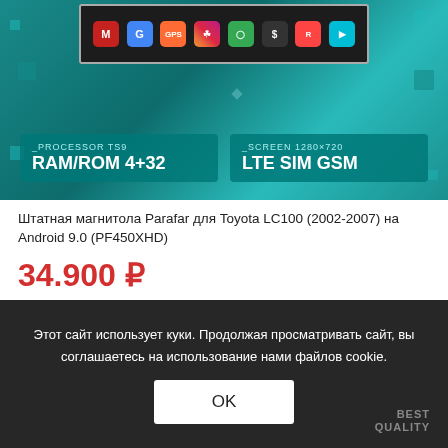[Figure (screenshot): Product image of Parafar car stereo unit showing Android interface with app icons, processor TS9, RAM/ROM 4+32, Screen 1280x720, LTE SIM GSM specs on teal/green decorative background]
Штатная магнитола Parafar для Toyota LC100 (2002-2007) на Android 9.0 (PF450XHD)
34.900 ₽
Этот сайт использует куки. Продолжая просматривать сайт, вы соглашаетесь на использование нами файлов cookie.